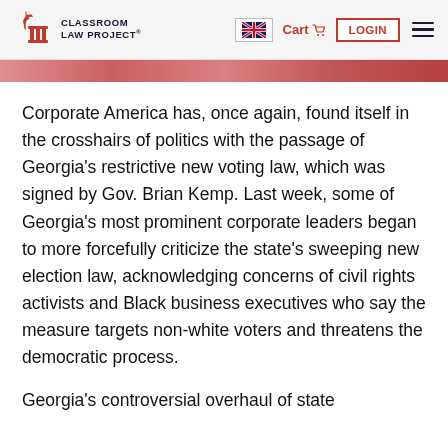Classroom Law Project — Cart | LOGIN
Corporate America has, once again, found itself in the crosshairs of politics with the passage of Georgia's restrictive new voting law, which was signed by Gov. Brian Kemp. Last week, some of Georgia's most prominent corporate leaders began to more forcefully criticize the state's sweeping new election law, acknowledging concerns of civil rights activists and Black business executives who say the measure targets non-white voters and threatens the democratic process.
Georgia's controversial overhaul of state